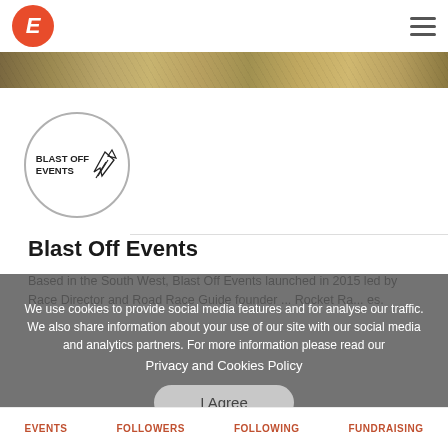Eventbrite header with logo and hamburger menu
[Figure (photo): A banner strip showing a crowd of people outdoors, cropped to a narrow horizontal band at the top of the page]
[Figure (logo): Blast Off Events circular logo with rocket graphic and text BLAST OFF EVENTS]
Blast Off Events
Based in the South West, Blast Off Events launched in 2015 led by Race Director and Road Race Guide founder ... Rocket Ra... es.
We use cookies to provide social media features and to analyse our traffic. We also share information about your use of our site with our social media and analytics partners. For more information please read our Privacy and Cookies Policy
EVENTS   FOLLOWERS   FOLLOWING   FUNDRAISING